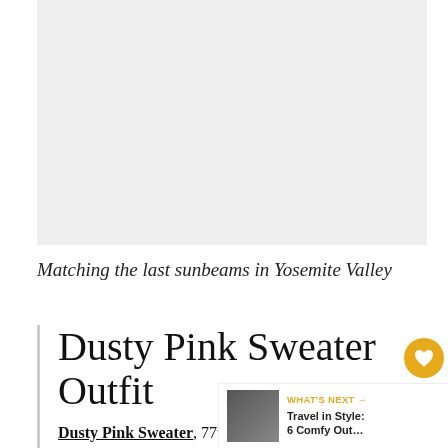[Figure (photo): Light gray placeholder area representing a photo, likely of an outfit in Yosemite Valley]
Matching the last sunbeams in Yosemite Valley
Dusty Pink Sweater Outfit
Dusty Pink Sweater, 77thFlea
Hat, Sacred Hawk (similar here)
Bracelet, Happiness Boutique
Buckle belt, River Island
Jeans, 77thFlea